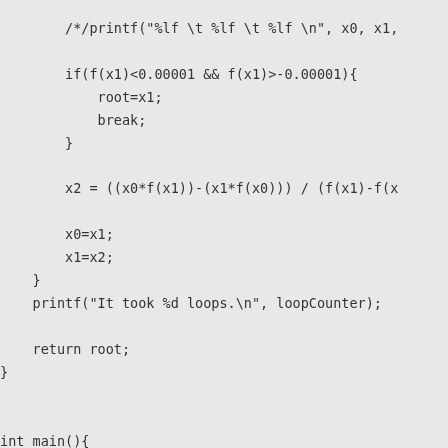/*/ printf("%lf \t %lf \t %lf \n", x0, x1,

        if(f(x1)<0.00001 && f(x1)>-0.00001){
            root=x1;
            break;
        }

        x2 = ((x0*f(x1))-(x1*f(x0))) / (f(x1)-f(x

        x0=x1;
        x1=x2;
    }
    printf("It took %d loops.\n", loopCounter);

    return root;
}


int main(){
    double root;